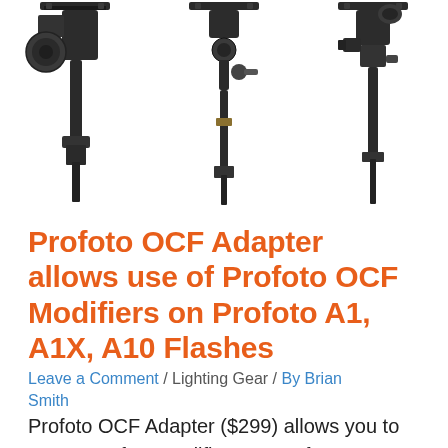[Figure (photo): Three black Profoto OCF adapter/bracket hardware products shown from front views against white background, arranged side by side]
Profoto OCF Adapter allows use of Profoto OCF Modifiers on Profoto A1, A1X, A10 Flashes
Leave a Comment / Lighting Gear / By Brian Smith
Profoto OCF Adapter ($299) allows you to mount Profoto modifiers on Profoto A1, A1X &